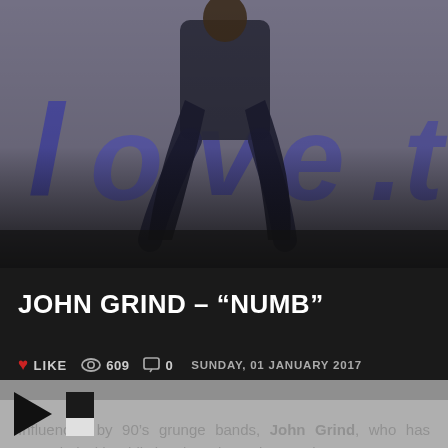[Figure (photo): Person sitting against a graffiti wall with large blue/purple letters spelling 'Love th...' (partially cropped). Dark overlay at bottom of image. The scene is moody with a muted blue-grey palette.]
JOHN GRIND – "NUMB"
❤ LIKE  👁 609  💬 0  SUNDAY, 01 JANUARY 2017
Influenced by 90's grunge bands, John Grind, who has struggled with addiction, loss, love, desperation and joy, says that he has been through the worst of it and is still fighting, but putting his experiences into music is what helps him through. And he is hoping